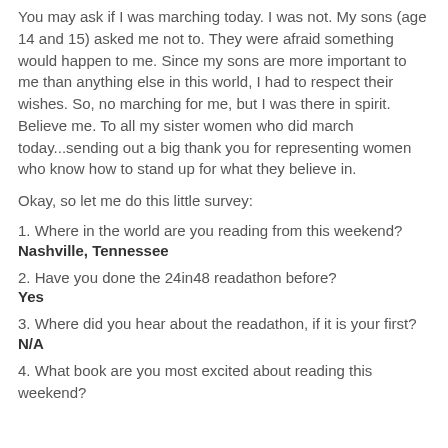You may ask if I was marching today. I was not. My sons (age 14 and 15) asked me not to. They were afraid something would happen to me. Since my sons are more important to me than anything else in this world, I had to respect their wishes. So, no marching for me, but I was there in spirit. Believe me. To all my sister women who did march today...sending out a big thank you for representing women who know how to stand up for what they believe in.
Okay, so let me do this little survey:
1. Where in the world are you reading from this weekend?
Nashville, Tennessee
2. Have you done the 24in48 readathon before?
Yes
3. Where did you hear about the readathon, if it is your first?
N/A
4. What book are you most excited about reading this weekend?